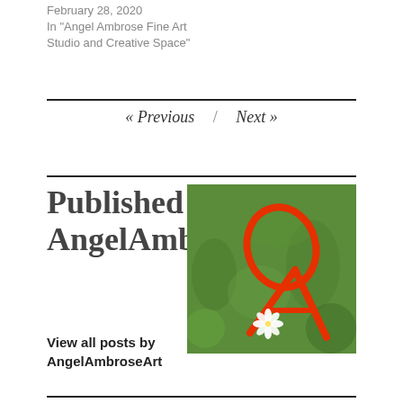February 28, 2020
In "Angel Ambrose Fine Art Studio and Creative Space"
« Previous / Next »
Published by AngelAmbroseArt
[Figure (photo): Logo photo showing red script letters 'OA' on green grass with a small white flower]
View all posts by AngelAmbroseArt